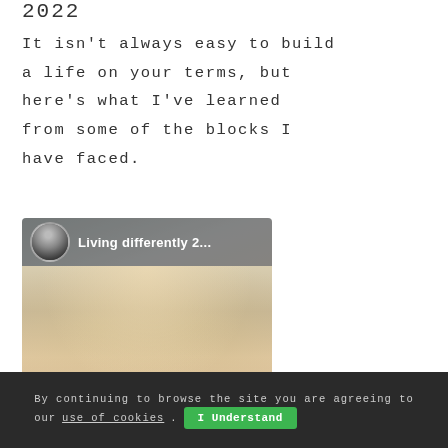2022
It isn't always easy to build a life on your terms, but here's what I've learned from some of the blocks I have faced.
[Figure (screenshot): Video thumbnail showing a person with blonde hair. Overlay bar at top shows a circular avatar photo of a woman and text 'Living differently 2...']
By continuing to browse the site you are agreeing to our use of cookies. I Understand